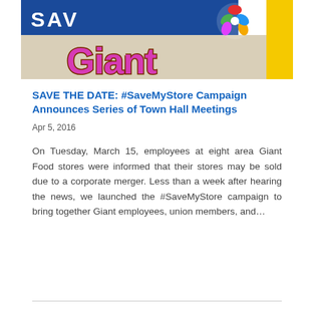[Figure (photo): Photo of a Giant Food store sign showing the word 'Giant' in large pink/magenta letters with brown shadow on a beige wall, with a blue banner showing 'SAV...' at the top left and a colorful circular logo at the top right, yellow bar on the right edge.]
SAVE THE DATE: #SaveMyStore Campaign Announces Series of Town Hall Meetings
Apr 5, 2016
On Tuesday, March 15, employees at eight area Giant Food stores were informed that their stores may be sold due to a corporate merger. Less than a week after hearing the news, we launched the #SaveMyStore campaign to bring together Giant employees, union members, and...